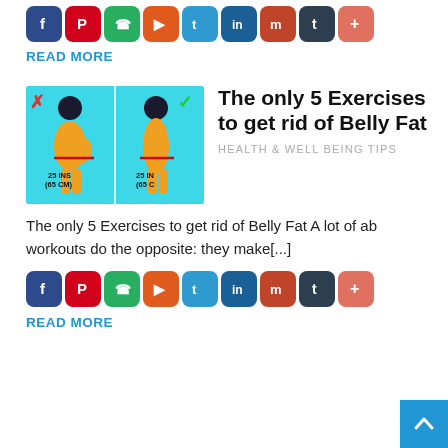[Figure (infographic): Row of social media sharing icons (Facebook, Pinterest, WhatsApp, Flipboard, Twitter, LinkedIn, Mix, Tumblr, More) at top of page]
READ MORE
[Figure (photo): Illustration comparing bad posture vs good posture with measurements 25 INS (65 CM)]
The only 5 Exercises to get rid of Belly Fat
HEALTH & WELL BEING TIPS
The only 5 Exercises to get rid of Belly Fat A lot of ab workouts do the opposite: they make[...]
[Figure (infographic): Row of social media sharing icons (Facebook, Pinterest, WhatsApp, Flipboard, Twitter, LinkedIn, Mix, Tumblr, More) below article excerpt]
READ MORE